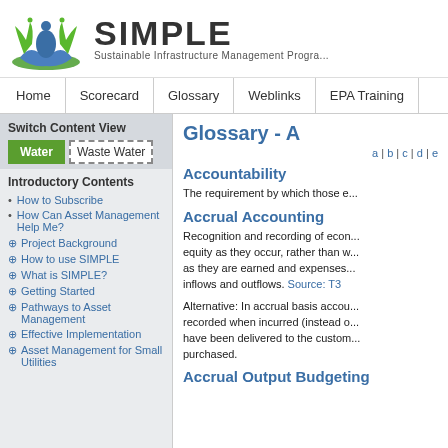[Figure (logo): SIMPLE program logo: stylized human figure with green and blue splashes]
SIMPLE
Sustainable Infrastructure Management Progra...
Home | Scorecard | Glossary | Weblinks | EPA Training
Switch Content View
Water | Waste Water
Introductory Contents
How to Subscribe
How Can Asset Management Help Me?
Project Background
How to use SIMPLE
What is SIMPLE?
Getting Started
Pathways to Asset Management
Effective Implementation
Asset Management for Small Utilities
Glossary - A
a | b | c | d | e
Accountability
The requirement by which those e...
Accrual Accounting
Recognition and recording of econ... equity as they occur, rather than w... as they are earned and expenses... inflows and outflows. Source: T3
Alternative: In accrual basis accou... recorded when incurred (instead o... have been delivered to the custom... purchased.
Accrual Output Budgeting